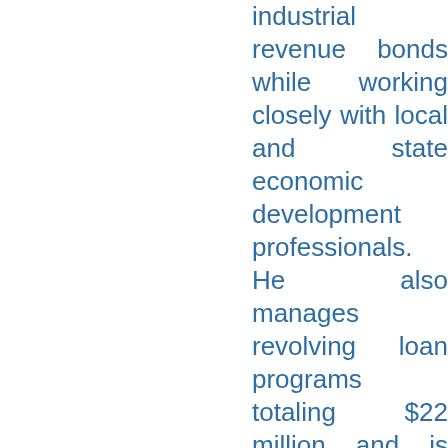industrial revenue bonds while working closely with local and state economic development professionals. He also manages revolving loan programs totaling $22 million and is responsible for all marketing and public relations for the LPFA.
Walke's professional career